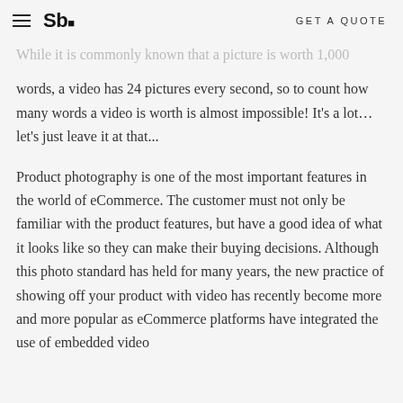Sb. GET A QUOTE
While it is commonly known that a picture is worth 1,000 words, a video has 24 pictures every second, so to count how many words a video is worth is almost impossible! It's a lot… let's just leave it at that...
Product photography is one of the most important features in the world of eCommerce. The customer must not only be familiar with the product features, but have a good idea of what it looks like so they can make their buying decisions. Although this photo standard has held for many years, the new practice of showing off your product with video has recently become more and more popular as eCommerce platforms have integrated the use of embedded video